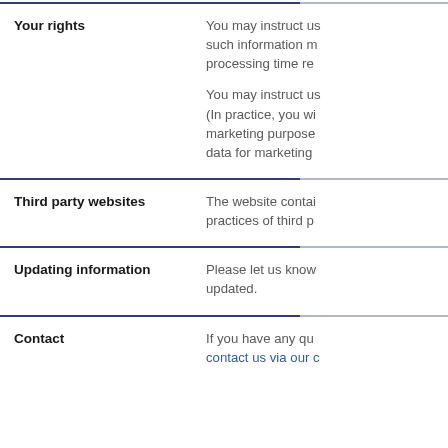| Section | Content |
| --- | --- |
| Your rights | You may instruct us such information m processing time re

You may instruct us (In practice, you wi marketing purpose data for marketing |
| Third party websites | The website contai practices of third p |
| Updating information | Please let us know updated. |
| Contact | If you have any que contact us via our c |